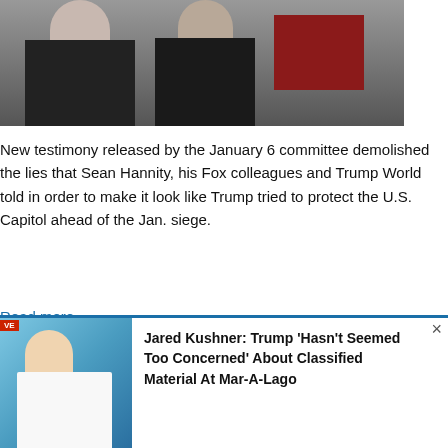[Figure (photo): Two people in suits partially visible at top, with dark red/maroon background element on right side]
New testimony released by the January 6 committee demolished the lies that Sean Hannity, his Fox colleagues and Trump World told in order to make it look like Trump tried to protect the U.S. Capitol ahead of the Jan. siege.
Read more
4 reactions   Share
← Previous  1  2  3  4  5  6  7  8  9  ...  1227  1228  Next →
[Figure (photo): Jared Kushner headshot against blue background with news chyron]
Jared Kushner: Trump 'Hasn't Seemed Too Concerned' About Classified Material At Mar-A-Lago